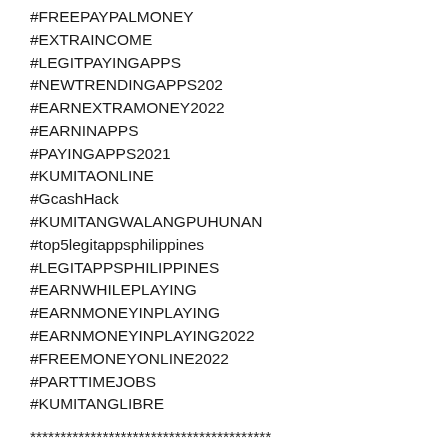#FREEPAYPALMONEY
#EXTRAINCOME
#LEGITPAYINGAPPS
#NEWTRENDINGAPPS202
#EARNEXTRAMONEY2022
#EARNINAPPS
#PAYINGAPPS2021
#KUMITAONLINE
#GcashHack
#KUMITANGWALANGPUHUNAN
#top5legitappsphilippines
#LEGITAPPSPHILIPPINES
#EARNWHILEPLAYING
#EARNMONEYINPLAYING
#EARNMONEYINPLAYING2022
#FREEMONEYONLINE2022
#PARTTIMEJOBS
#KUMITANGLIBRE
****************************************